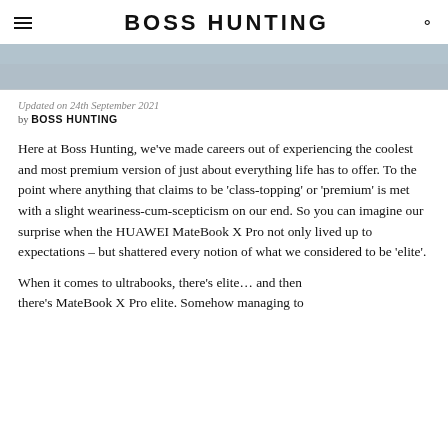BOSS HUNTING
[Figure (photo): Partial hero image of hands with a device, cropped at top of page]
Updated on 24th September 2021
by BOSS HUNTING
Here at Boss Hunting, we've made careers out of experiencing the coolest and most premium version of just about everything life has to offer. To the point where anything that claims to be 'class-topping' or 'premium' is met with a slight weariness-cum-scepticism on our end. So you can imagine our surprise when the HUAWEI MateBook X Pro not only lived up to expectations – but shattered every notion of what we considered to be 'elite'.
When it comes to ultrabooks, there's elite… and then there's MateBook X Pro elite. Somehow managing to